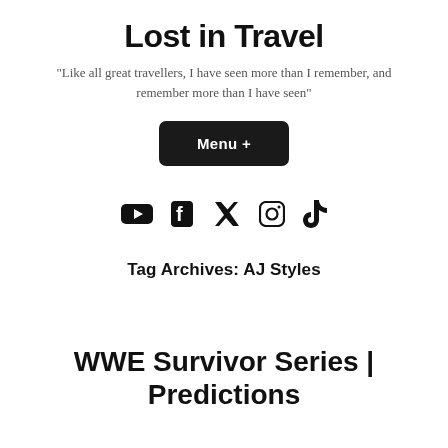Lost in Travel
"Like all great travellers, I have seen more than I remember, and remember more than I have seen"
Menu +
[Figure (other): Social media icons: YouTube, Facebook, Twitter, Instagram, TikTok]
Tag Archives: AJ Styles
WWE Survivor Series | Predictions